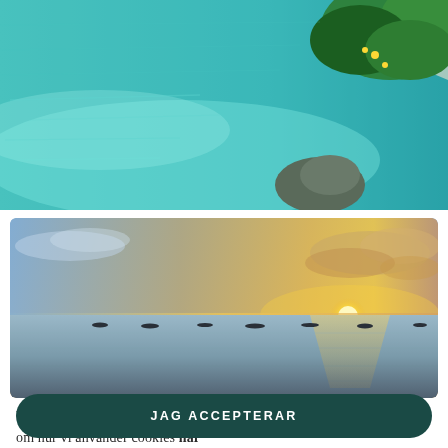[Figure (photo): Aerial view of turquoise tropical sea with rocks and green trees on the right side]
[Figure (photo): Wide panoramic sunset over a calm ocean with small boats silhouetted on the water and golden sky]
Vi använder cookies för att anpassa din upplevelse på vår sajt. Läs mer om hur vi använder cookies här
JAG ACCEPTERAR